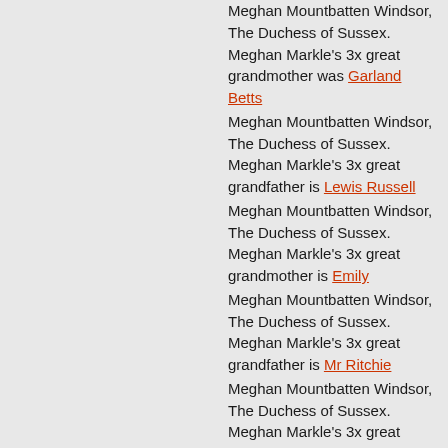Meghan Mountbatten Windsor, The Duchess of Sussex. Meghan Markle's 3x great grandmother was Garland Betts
Meghan Mountbatten Windsor, The Duchess of Sussex. Meghan Markle's 3x great grandfather is Lewis Russell
Meghan Mountbatten Windsor, The Duchess of Sussex. Meghan Markle's 3x great grandmother is Emily
Meghan Mountbatten Windsor, The Duchess of Sussex. Meghan Markle's 3x great grandfather is Mr Ritchie
Meghan Mountbatten Windsor, The Duchess of Sussex. Meghan Markle's 3x great grandmother was Mattie Henderson
Meghan Mountbatten Windsor, The Duchess of Sussex. Meghan Markle's 3x great grandfather is Steve Ragland
Meghan Mountbatten Windsor,